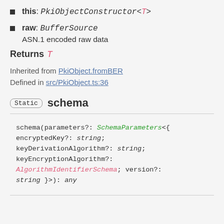this: PkiObjectConstructor<T>
raw: BufferSource
ASN.1 encoded raw data
Returns T
Inherited from PkiObject.fromBER
Defined in src/PkiObject.ts:36
Static schema
schema(parameters?: SchemaParameters<{ encryptedKey?: string; keyDerivationAlgorithm?: string; keyEncryptionAlgorithm?: AlgorithmIdentifierSchema; version?: string }>): any